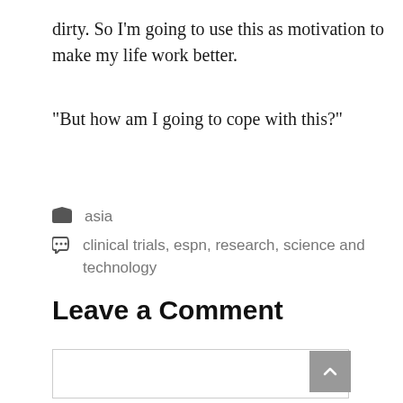dirty. So I'm going to use this as motivation to make my life work better.
“But how am I going to cope with this?”
asia
clinical trials, espn, research, science and technology
Leave a Comment